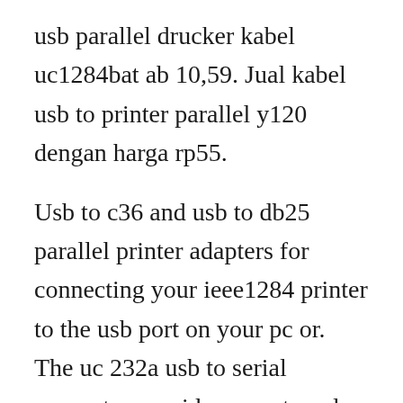usb parallel drucker kabel uc1284bat ab 10,59. Jual kabel usb to printer parallel y120 dengan harga rp55.
Usb to c36 and usb to db25 parallel printer adapters for connecting your ieee1284 printer to the usb port on your pc or. The uc 232a usb to serial converter provides an external plugandplay rs232 serial connection for computers, notebooks, laptops, and handheld computing devices that support the usb specification. Aten uc1284b usb to parallel printer cable the uc1284b usb to parallel